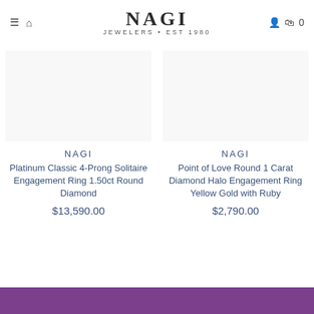NAGI JEWELERS · EST 1980
NAGI
Platinum Classic 4-Prong Solitaire Engagement Ring 1.50ct Round Diamond
$13,590.00
NAGI
Point of Love Round 1 Carat Diamond Halo Engagement Ring Yellow Gold with Ruby
$2,790.00